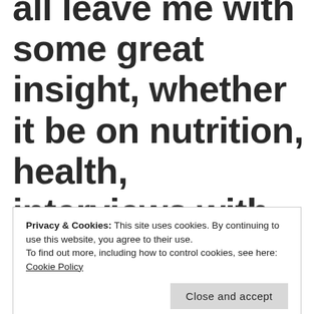all leave me with some great insight, whether it be on nutrition, health, interviews with other talented authors and
Privacy & Cookies: This site uses cookies. By continuing to use this website, you agree to their use.
To find out more, including how to control cookies, see here: Cookie Policy
Close and accept